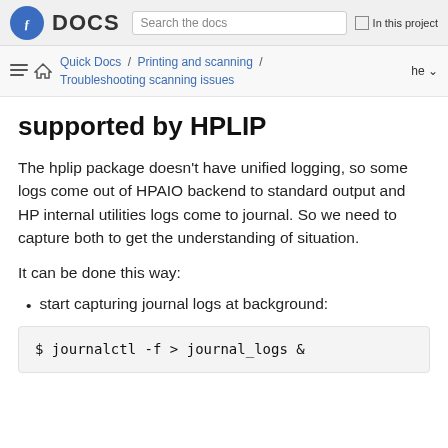DOCS  Search the docs  In this project
Quick Docs / Printing and scanning / Troubleshooting scanning issues  he
supported by HPLIP
The hplip package doesn't have unified logging, so some logs come out of HPAIO backend to standard output and HP internal utilities logs come to journal. So we need to capture both to get the understanding of situation.
It can be done this way:
start capturing journal logs at background:
$ journalctl -f > journal_logs &